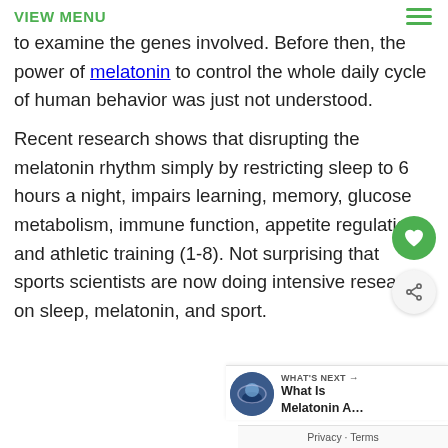VIEW MENU
to examine the genes involved. Before then, the power of melatonin to control the whole daily cycle of human behavior was just not understood.
Recent research shows that disrupting the melatonin rhythm simply by restricting sleep to 6 hours a night, impairs learning, memory, glucose metabolism, immune function, appetite regulation, and athletic training (1-8). Not surprising that sports scientists are now doing intensive research on sleep, melatonin, and sport.